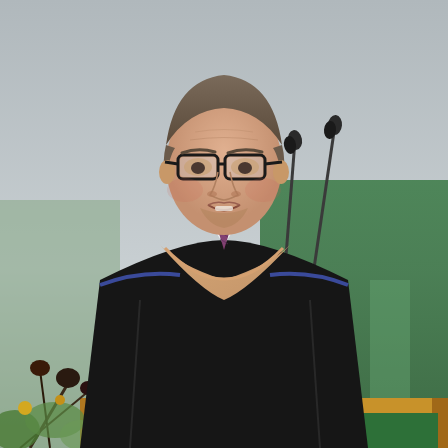[Figure (photo): A man wearing academic regalia (black graduation gown with blue trim and a tan/peach hood) speaks at a wooden podium bearing a green panel with the words 'SARAH LAWRENCE' in large white letters. Two microphones are visible above the podium. Floral arrangements with greenery and dark flowers are visible in the lower left. The background shows green drapery.]